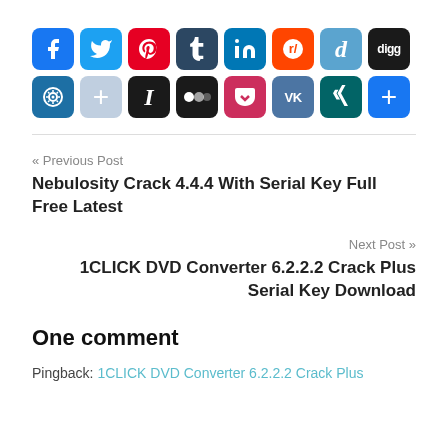[Figure (infographic): Row of social media sharing icon buttons: Facebook, Twitter, Pinterest, Tumblr, LinkedIn, Reddit, Delicious, Digg, StumbleUpon, and a second row with: Plus/Add, Instapaper, Myspace, Pocket, VK, XING, More/Plus]
« Previous Post
Nebulosity Crack 4.4.4 With Serial Key Full Free Latest
Next Post »
1CLICK DVD Converter 6.2.2.2 Crack Plus Serial Key Download
One comment
Pingback: 1CLICK DVD Converter 6.2.2.2 Crack Plus